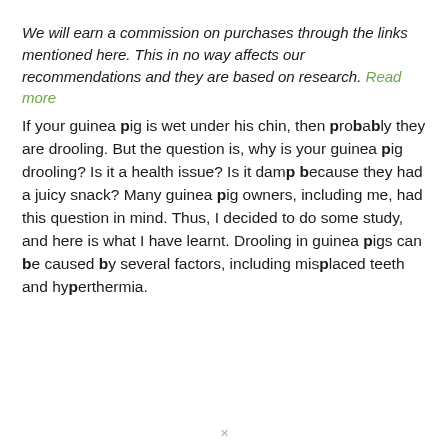We will earn a commission on purchases through the links mentioned here. This in no way affects our recommendations and they are based on research. Read more
If your guinea pig is wet under his chin, then probably they are drooling. But the question is, why is your guinea pig drooling? Is it a health issue? Is it damp because they had a juicy snack? Many guinea pig owners, including me, had this question in mind. Thus, I decided to do some study, and here is what I have learnt. Drooling in guinea pigs can be caused by several factors, including misplaced teeth and hyperthermia.